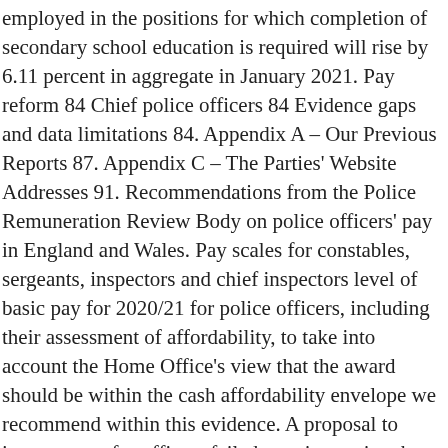employed in the positions for which completion of secondary school education is required will rise by 6.11 percent in aggregate in January 2021. Pay reform 84 Chief police officers 84 Evidence gaps and data limitations 84. Appendix A – Our Previous Reports 87. Appendix C – The Parties' Website Addresses 91. Recommendations from the Police Remuneration Review Body on police officers' pay in England and Wales. Pay scales for constables, sergeants, inspectors and chief inspectors level of basic pay for 2020/21 for police officers, including their assessment of affordability, to take into account the Home Office's view that the award should be within the cash affordability envelope we recommend within this evidence. A proposal to increase pay for officers failed to gain traction, but council members did commit to finding a way to raise police compensation during the 2021 fiscal year. The starting salary for a police officer ranges between £19,971 (no qualifications) and £23,124 for constables, rising to £38,382 seven years after joining. Slovenia logs 1,506 new coronavirus cases, 20 fatalities, Covid-19: Masks mandatory in closed spaces, restrictions imposed on gatherings, Croatia's coronavirus update: 599 new cases, 29 deaths, 659 recoveries. Czech